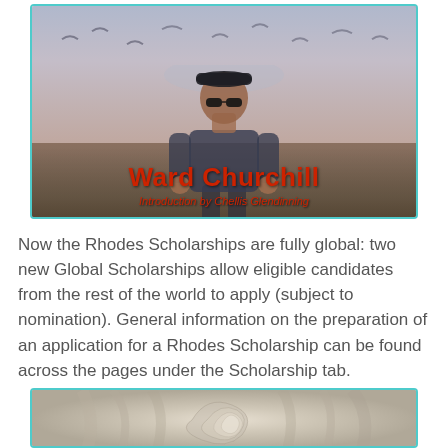[Figure (illustration): Book cover image showing a figure standing outdoors with text 'Ward Churchill' in red and 'Introduction by Chellis Glendinning' below it]
Now the Rhodes Scholarships are fully global: two new Global Scholarships allow eligible candidates from the rest of the world to apply (subject to nomination). General information on the preparation of an application for a Rhodes Scholarship can be found across the pages under the Scholarship tab.
[Figure (photo): Close-up photo of what appears to be a white or cream-colored rose or fabric with swirling patterns]